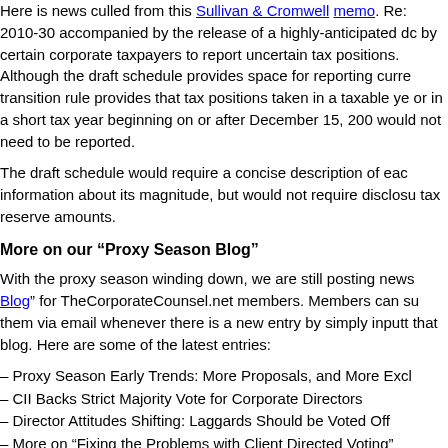Here is news culled from this Sullivan & Cromwell memo. Re: 2010-30 accompanied by the release of a highly-anticipated draft by certain corporate taxpayers to report uncertain tax positions. Although the draft schedule provides space for reporting current transition rule provides that tax positions taken in a taxable year or in a short tax year beginning on or after December 15, 2009 would not need to be reported.
The draft schedule would require a concise description of each information about its magnitude, but would not require disclosure tax reserve amounts.
More on our “Proxy Season Blog”
With the proxy season winding down, we are still posting new Blog for TheCorporateCounsel.net members. Members can subscribe them via email whenever there is a new entry by simply inputting that blog. Here are some of the latest entries:
– Proxy Season Early Trends: More Proposals, and More Exclusions
– CII Backs Strict Majority Vote for Corporate Directors
– Director Attitudes Shifting: Laggards Should be Voted Off
– More on “Fixing the Problems with Client Directed Voting”
– The Need to Better Draft VIFs
– Broc Romanok